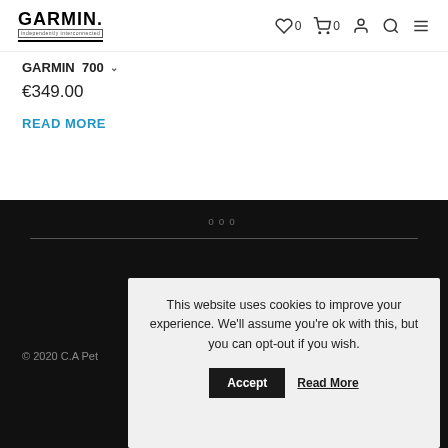GARMIN
Garmin 700
€349.00
READ MORE
ooo
© 2020 C.A Pet
This website uses cookies to improve your experience. We'll assume you're ok with this, but you can opt-out if you wish.
Accept
Read More